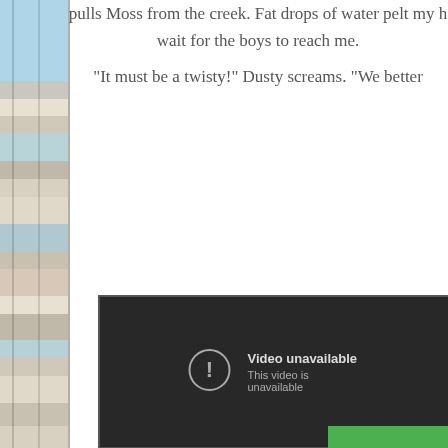[Figure (photo): Stack of books with colorful spines visible along left edge of page]
pulls Moss from the creek. Fat drops of water pelt my h... wait for the boys to reach me.
“It must be a twisty!” Dusty screams. “We better...
[Figure (screenshot): Video player showing 'Video unavailable - This video is unavailable' error message on dark background]